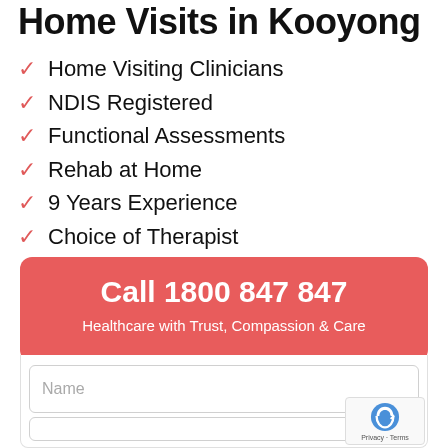Home Visits in Kooyong
Home Visiting Clinicians
NDIS Registered
Functional Assessments
Rehab at Home
9 Years Experience
Choice of Therapist
Call 1800 847 847
Healthcare with Trust, Compassion & Care
Name